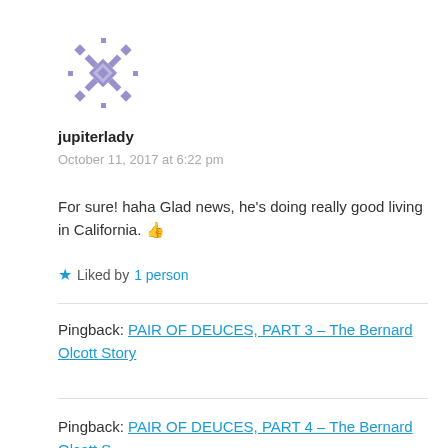[Figure (illustration): Purple/lavender decorative geometric snowflake-like avatar icon]
jupiterlady
October 11, 2017 at 6:22 pm
For sure! haha Glad news, he's doing really good living in California. 👍
★ Liked by 1 person
Pingback: PAIR OF DEUCES, PART 3 – The Bernard Olcott Story
Pingback: